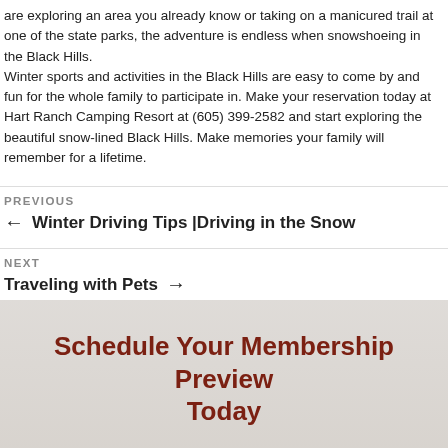are exploring an area you already know or taking on a manicured trail at one of the state parks, the adventure is endless when snowshoeing in the Black Hills. Winter sports and activities in the Black Hills are easy to come by and fun for the whole family to participate in. Make your reservation today at Hart Ranch Camping Resort at (605) 399-2582 and start exploring the beautiful snow-lined Black Hills. Make memories your family will remember for a lifetime.
PREVIOUS
← Winter Driving Tips |Driving in the Snow
NEXT
Traveling with Pets →
Schedule Your Membership Preview Today